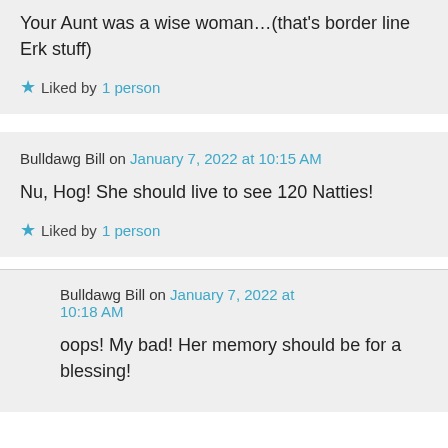Your Aunt was a wise woman…(that's border line Erk stuff)
Liked by 1 person
Bulldawg Bill on January 7, 2022 at 10:15 AM
Nu, Hog! She should live to see 120 Natties!
Liked by 1 person
Bulldawg Bill on January 7, 2022 at 10:18 AM
oops! My bad! Her memory should be for a blessing!